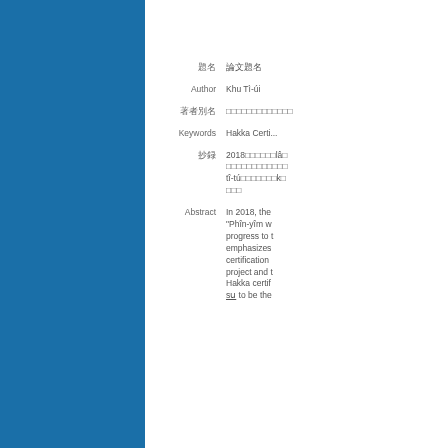題名　論文題名
Author　Khu Tì-úi
著者別名　（CJK characters）
Keywords　Hakka Certi...
抄録　2018年に...tî-tú...
Abstract　In 2018, the "Phîn-yîm w... progress to t... emphasizes ... certification ... project and t... Hakka certif... sṳ to be the...